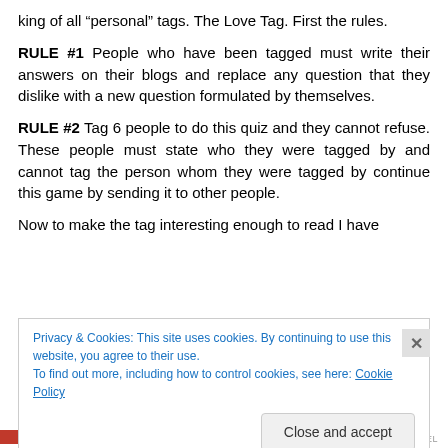king of all “personal” tags. The Love Tag. First the rules.
RULE #1 People who have been tagged must write their answers on their blogs and replace any question that they dislike with a new question formulated by themselves.
RULE #2 Tag 6 people to do this quiz and they cannot refuse. These people must state who they were tagged by and cannot tag the person whom they were tagged by continue this game by sending it to other people.
Now to make the tag interesting enough to read I have
Privacy & Cookies: This site uses cookies. By continuing to use this website, you agree to their use.
To find out more, including how to control cookies, see here: Cookie Policy
Close and accept